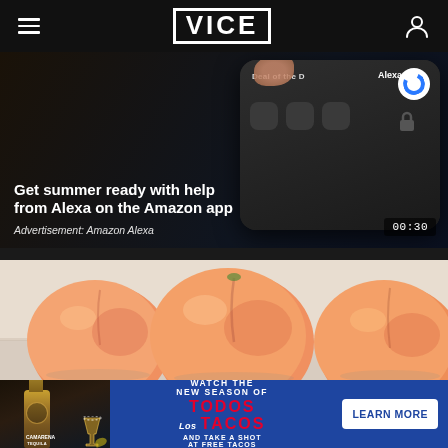VICE
[Figure (screenshot): Video advertisement card showing Amazon Alexa app on phone screen with dark background]
Get summer ready with help from Alexa on the Amazon app
Advertisement: Amazon Alexa
00:30
[Figure (photo): Close-up photo of three peaches on a light background]
[Figure (infographic): Advertisement banner for Todos Los Tacos featuring Camarena Tequila bottle and cocktail with blue background. Text: WATCH THE NEW SEASON OF TODOS Los TACOS AND TAKE A SHOT AT FREE TACOS. LEARN MORE button.]